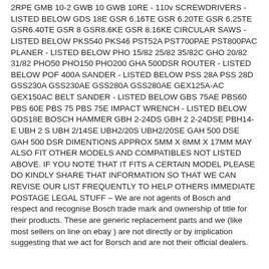2RPE GMB 10-2 GWB 10 GWB 10RE - 110v SCREWDRIVERS - LISTED BELOW GDS 18E GSR 6.16TE GSR 6.20TE GSR 6.25TE GSR6.40TE GSR 8 GSR8.6KE GSR 8.16KE CIRCULAR SAWS - LISTED BELOW PKS540 PKS46 PST52A PST700PAE PST800PAC PLANER - LISTED BELOW PHO 15/82 25/82 35/82C GHO 20/82 31/82 PHO50 PHO150 PHO200 GHA 500DSR ROUTER - LISTED BELOW POF 400A SANDER - LISTED BELOW PSS 28A PSS 28D GSS230A GSS230AE GSS280A GSS280AE GEX125A-AC GEX150AC BELT SANDER - LISTED BELOW GBS 75AE PBS60 PBS 60E PBS 75 PBS 75E IMPACT WRENCH - LISTED BELOW GDS18E BOSCH HAMMER GBH 2-24DS GBH 2 2-24DSE PBH14-E UBH 2 S UBH 2/14SE UBH2/20S UBH2/20SE GAH 500 DSE GAH 500 DSR DIMENTIONS APPROX 5MM X 8MM X 17MM MAY ALSO FIT OTHER MODELS AND COMPATIBLES NOT LISTED ABOVE. IF YOU NOTE THAT IT FITS A CERTAIN MODEL PLEASE DO KINDLY SHARE THAT INFORMATION SO THAT WE CAN REVISE OUR LIST FREQUENTLY TO HELP OTHERS IMMEDIATE POSTAGE LEGAL STUFF – We are not agents of Bosch and respect and recognise Bosch trade mark and ownership of title for their products. These are generic replacement parts and we (like most sellers on line on ebay ) are not directly or by implication suggesting that we act for Borsch and are not their official dealers.